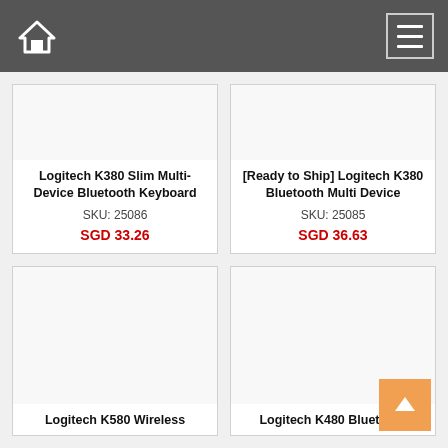Navigation bar with home icon and menu icon
Logitech K380 Slim Multi-Device Bluetooth Keyboard
SKU: 25086
SGD 33.26
[Ready to Ship] Logitech K380 Bluetooth Multi Device
SKU: 25085
SGD 36.63
Logitech K580 Wireless
Logitech K480 Bluetooth